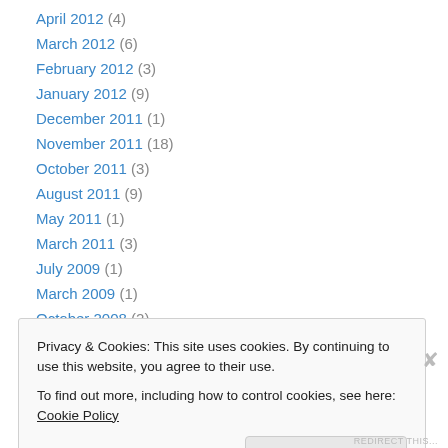April 2012 (4)
March 2012 (6)
February 2012 (3)
January 2012 (9)
December 2011 (1)
November 2011 (18)
October 2011 (3)
August 2011 (9)
May 2011 (1)
March 2011 (3)
July 2009 (1)
March 2009 (1)
October 2008 (2)
Privacy & Cookies: This site uses cookies. By continuing to use this website, you agree to their use.
To find out more, including how to control cookies, see here: Cookie Policy
REDIRECT THIS...